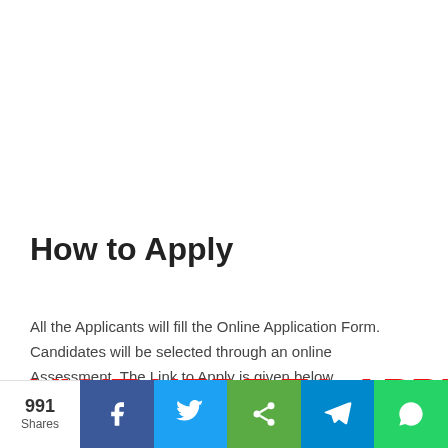How to Apply
All the Applicants will fill the Online Application Form. Candidates will be selected through an online Assessment. The Link to Apply is given below.
VISIT HERE TO APPLY FOR